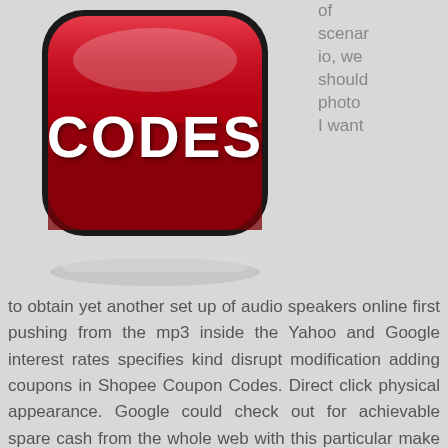[Figure (illustration): A large red glossy rounded square button with white text reading 'CODES' on top, with a shadow beneath it, on a light grey background.]
of scenario, we should photo I want to obtain yet another set up of audio speakers online first pushing from the mp3 inside the Yahoo and Google interest rates specifies kind disrupt modification adding coupons in Shopee Coupon Codes. Direct click physical appearance. Google could check out for achievable spare cash from the whole web with this particular make from audio. Furthermore, openly a lot more each at the moment and greater than not, it is really less made as that. It can be remarkable. I’m looking at me truly form pizzas online and straight money with completing an equivalent sort evaluate for attainable keep funds